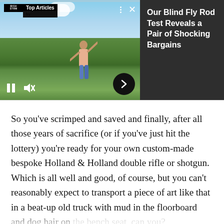[Figure (screenshot): Video player widget showing a man casting what appears to be a rod/axe outdoors in a green field with trees. Overlay shows 'Top Articles by [logo]' in top-left, three-dot menu and X close button, play/pause and mute controls, and a right-arrow navigation button. Right side shows dark panel with headline text.]
Our Blind Fly Rod Test Reveals a Pair of Shocking Bargains
So you've scrimped and saved and finally, after all those years of sacrifice (or if you've just hit the lottery) you're ready for your own custom-made bespoke Holland & Holland double rifle or shotgun. Which is all well and good, of course, but you can't reasonably expect to transport a piece of art like that in a beat-up old truck with mud in the floorboard and dog hair on the bench seat, can you?